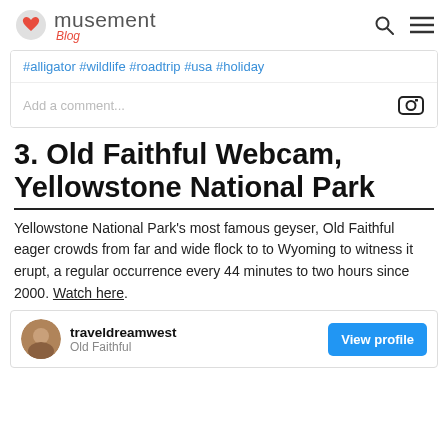musement Blog
#alligator #wildlife #roadtrip #usa #holiday
Add a comment...
3. Old Faithful Webcam, Yellowstone National Park
Yellowstone National Park's most famous geyser, Old Faithful eager crowds from far and wide flock to to Wyoming to witness it erupt, a regular occurrence every 44 minutes to two hours since 2000. Watch here.
traveldreamwest
Old Faithful
View profile